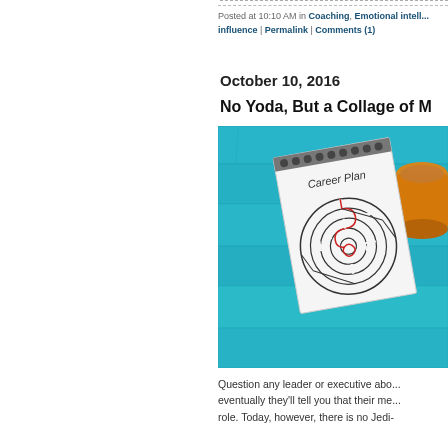Posted at 10:10 AM in Coaching, Emotional intelli... influence | Permalink | Comments (1)
October 10, 2016
No Yoda, But a Collage of M
[Figure (photo): A notebook titled 'Career Plan' with a maze drawn on it, placed on a teal wooden surface next to a cup of tea]
Question any leader or executive abo... eventually they'll tell you that their me... role. Today, however, there is no Jedi-